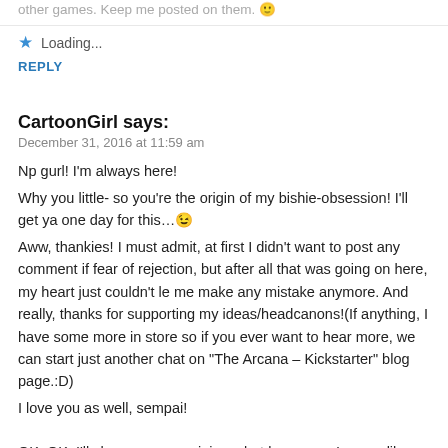other games. Keep me posted on them.
Loading...
REPLY
CartoonGirl says:
December 31, 2016 at 11:59 am
Np gurl! I'm always here!
Why you little- so you're the origin of my bishie-obsession! I'll get ya one day for this…😉
Aww, thankies! I must admit, at first I didn't want to post any comment if fear of rejection, but after all that was going on here, my heart just couldn't le me make any mistake anymore. And really, thanks for supporting my ideas/headcanons!(If anything, I have some more in store so if you ever want to hear more, we can start just another chat on "The Arcana – Kickstarter" blog page.:D)
I love you as well, sempai!
OK, OK, I'll show you my opinions, but be aware: I swear like a sailor